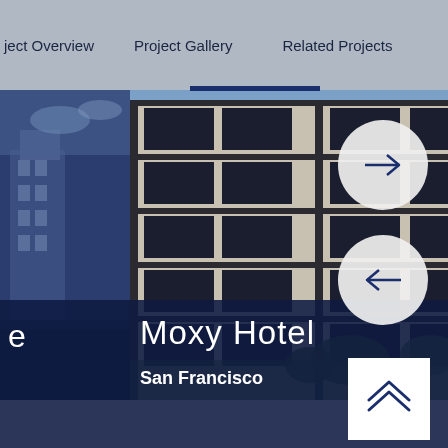ject Overview   Project Gallery   Related Projects
[Figure (photo): Main gallery view showing a modern hotel building facade with grid-pattern windows in beige/stone tone with dark frames, multi-story, with greenery at base. Left side shows a partial thumbnail of a building by water. Navigation arrows (next/previous) overlaid as circular buttons on the right side.]
Moxy Hotel
San Francisco